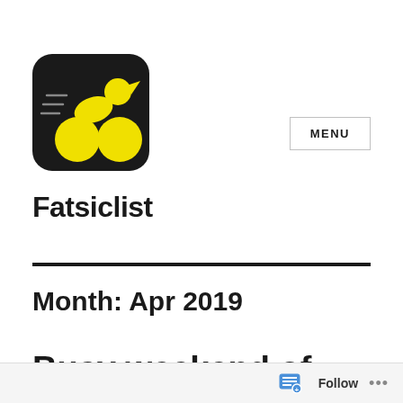[Figure (logo): Fatsiclist cycling blog logo: black rounded square with yellow cyclist icon leaning forward on a bicycle, speed lines visible]
Fatsiclist
MENU
Month: Apr 2019
Busy weekend of cycling
Follow